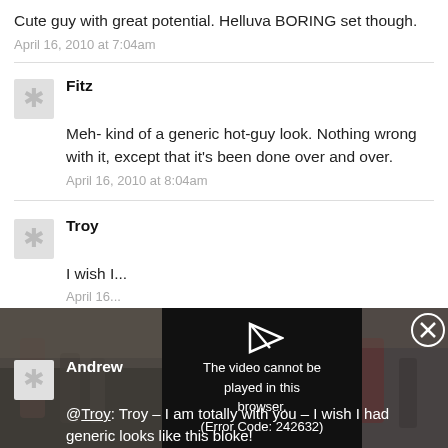Cute guy with great potential. Helluva BORING set though.
April 16, 2010 at 7:04am
Fitz
Meh- kind of a generic hot-guy look. Nothing wrong with it, except that it’s been done over and over.
April 16, 2010 at 8:04am
Troy
I wish I...
April 16...
[Figure (screenshot): Video player overlay showing error message: 'The video cannot be played in this browser. (Error Code: 242632)' with a play arrow icon and close X button, overlaid on a background showing people on a street.]
Andrew
@Troy: Troy – I am totally with you – I wish I had generic looks like this bloke!